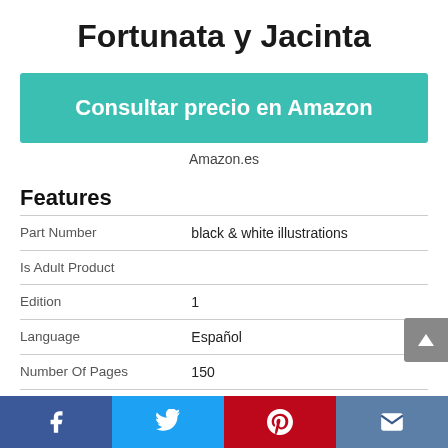Fortunata y Jacinta
Consultar precio en Amazon
Amazon.es
Features
|  |  |
| --- | --- |
| Part Number | black & white illustrations |
| Is Adult Product |  |
| Edition | 1 |
| Language | Español |
| Number Of Pages | 150 |
| Publication Date | 2013-03-24T00:00:01Z |